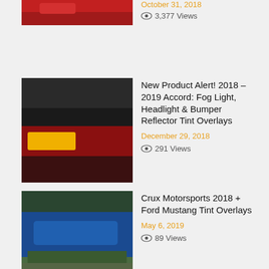[Figure (photo): Partial red car photo at top (cropped)]
October 31, 2018
3,377 Views
[Figure (photo): Red Honda Accord fog light area photo]
New Product Alert! 2018 – 2019 Accord: Fog Light, Headlight & Bumper Reflector Tint Overlays
December 29, 2018
291 Views
[Figure (photo): Blue Ford Mustang photo]
Crux Motorsports 2018 + Ford Mustang Tint Overlays
May 6, 2019
89 Views
[Figure (photo): Green Jeep Renegade photo]
2015 – 2018 Jeep Renegade Tint Overlays
79 Views